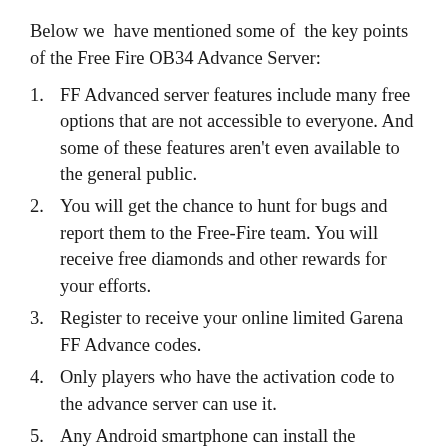Below we have mentioned some of the key points of the Free Fire OB34 Advance Server:
FF Advanced server features include many free options that are not accessible to everyone. And some of these features aren't even available to the general public.
You will get the chance to hunt for bugs and report them to the Free-Fire team. You will receive free diamonds and other rewards for your efforts.
Register to receive your online limited Garena FF Advance codes.
Only players who have the activation code to the advance server can use it.
Any Android smartphone can install the advanced server of Free Fire.
The iOS version of Free Fire will soon be available. Yet there is no news when it will be